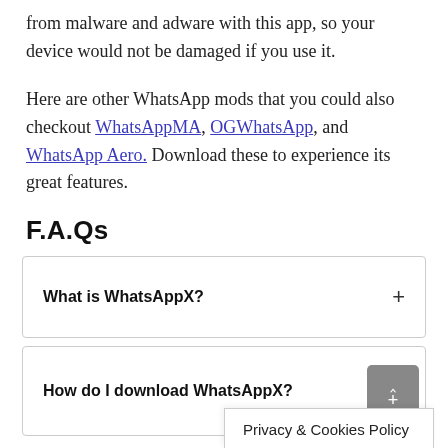from malware and adware with this app, so your device would not be damaged if you use it.
Here are other WhatsApp mods that you could also checkout WhatsAppMA, OGWhatsApp, and WhatsApp Aero. Download these to experience its great features.
F.A.Qs
What is WhatsAppX?
How do I download WhatsAppX?
Privacy & Cookies Policy